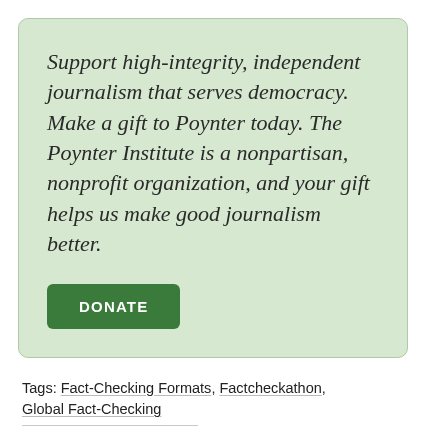Support high-integrity, independent journalism that serves democracy. Make a gift to Poynter today. The Poynter Institute is a nonpartisan, nonprofit organization, and your gift helps us make good journalism better.
[Figure (other): Green donate button with text DONATE]
Tags: Fact-Checking Formats, Factcheckathon, Global Fact-Checking